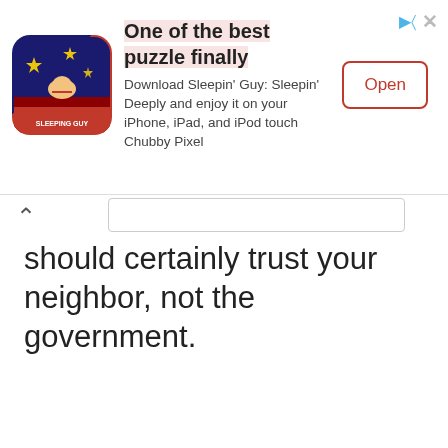[Figure (screenshot): Mobile app advertisement banner for 'Sleepin Guy: Sleepin Deeply' puzzle game. Contains app icon, headline text 'One of the best puzzle finally', subtext 'Download Sleepin' Guy: Sleepin' Deeply and enjoy it on your iPhone, iPad, and iPod touch Chubby Pixel', and an 'Open' button.]
should certainly trust your neighbor, not the government.